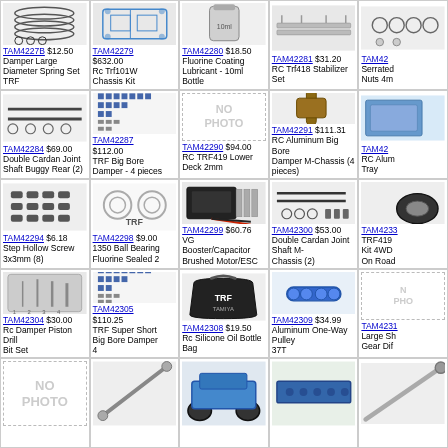[Figure (photo): RC part product image - damper spring set]
TAM4227B $12.50 Damper Large Diameter Spring Set TRF
[Figure (photo): RC car chassis kit]
TAM42279 $632.00 Rc Trf101W Chassis Kit
[Figure (photo): Fluorine coating lubricant bottle]
TAM42280 $18.50 Fluorine Coating Lubricant - 10ml Bottle
[Figure (photo): RC stabilizer set]
TAM42281 $31.20 RC Trf418 Stabilizer Set
[Figure (photo): Serrated nuts 4m]
TAM42 Serrated Nuts 4m
[Figure (photo): Double cardan joint shaft]
TAM42284 $69.00 Double Cardan Joint Shaft Buggy Rear (2)
[Figure (photo): TRF big bore damper parts]
TAM42287 $112.00 TRF Big Bore Damper - 4 pieces
[Figure (other): No photo placeholder]
TAM42290 $94.00 RC TRF419 Lower Deck 2mm
[Figure (photo): RC aluminum big bore damper]
TAM42291 $111.31 RC Aluminum Big Bore Damper M-Chassis (4 pieces)
[Figure (photo): RC aluminum tray]
TAM42 RC Alum Tray
[Figure (photo): Step hollow screws]
TAM42294 $6.18 Step Hollow Screw 3x3mm (8)
[Figure (photo): Ball bearing fluorine sealed]
TAM42298 $9.00 1350 Ball Bearing Fluorine Sealed 2
[Figure (photo): VG Booster capacitor brushed motor ESC]
TAM42299 $60.76 VG Booster/Capacitor Brushed Motor/ESC
[Figure (photo): Double cardan joint shaft M-chassis]
TAM42300 $53.00 Double Cardan Joint Shaft M-Chassis (2)
[Figure (photo): TRF419 kit 4WD on road]
TAM4233 TRF419 Kit 4WD On Road
[Figure (photo): RC damper piston drill bit set]
TAM42304 $30.00 Rc Damper Piston Drill Bit Set
[Figure (photo): TRF super short big bore damper]
TAM42305 $110.25 TRF Super Short Big Bore Damper 4
[Figure (photo): RC silicone oil bottle bag]
TAM42308 $19.50 Rc Silicone Oil Bottle Bag
[Figure (photo): Aluminum one-way pulley 37T]
TAM42309 $34.99 Aluminum One-Way Pulley 37T
[Figure (other): No photo placeholder]
TAM4231 Large Sh Gear Dif
[Figure (other): No photo placeholder]
[Figure (photo): RC shaft part]
[Figure (photo): RC car chassis]
[Figure (photo): RC part blue]
[Figure (photo): RC shaft]